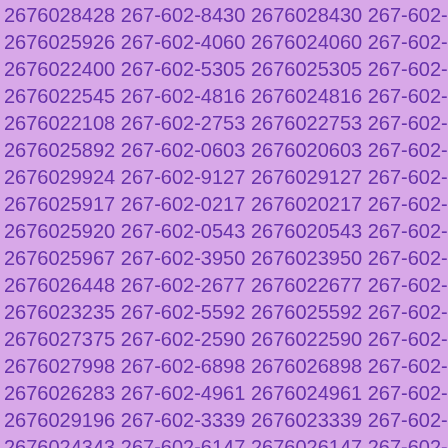2676028428 267-602-8430 2676028430 267-602-5920 2676025926 267-602-4060 2676024060 267-602-2400 2676022400 267-602-5305 2676025305 267-602-2545 2676022545 267-602-4816 2676024816 267-602-2108 2676022108 267-602-2753 2676022753 267-602-5892 2676025892 267-602-0603 2676020603 267-602-9924 2676029924 267-602-9127 2676029127 267-602-5917 2676025917 267-602-0217 2676020217 267-602-5920 2676025920 267-602-0543 2676020543 267-602-5967 2676025967 267-602-3950 2676023950 267-602-6448 2676026448 267-602-2677 2676022677 267-602-3235 2676023235 267-602-5592 2676025592 267-602-7375 2676027375 267-602-2590 2676022590 267-602-7998 2676027998 267-602-6898 2676026898 267-602-6283 2676026283 267-602-4961 2676024961 267-602-9196 2676029196 267-602-3339 2676023339 267-602-4343 2676024343 267-602-6147 2676026147 267-602-1892 2676021892 267-602-7950 2676027950 267-602-5388 2676025388 267-602-3714 2676023714 267-602-2845 2676022845 267-602-1848 2676021848 267-602-9317 2676029317 267-602-0248 2676020248 267-602-5731